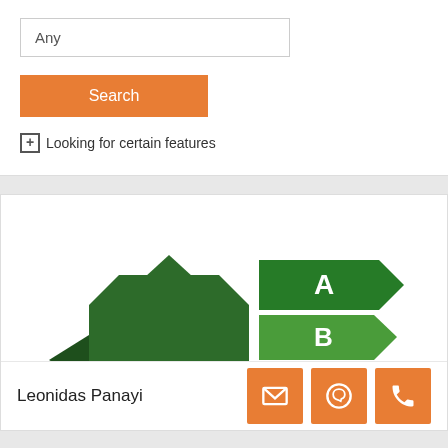Any
Search
Looking for certain features
[Figure (infographic): Energy Performance Certificate (EPC) rating chart showing a house silhouette in dark green on the left and labeled arrow-shaped rating bands A (dark green), B (medium green), C (yellow-green), D (yellow-green/yellow) on the right, partially cut off at the bottom.]
Leonidas Panayi